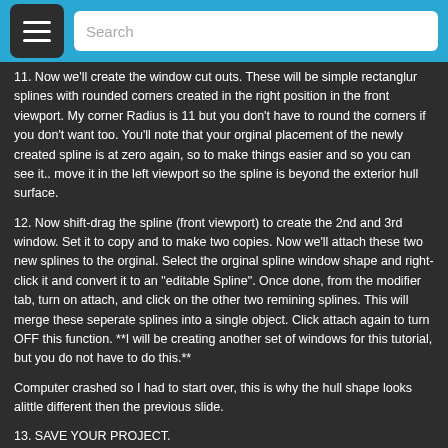Search
11. Now we'll create the window cut outs. These will be simple rectanglur splines with rounded corners created in the right position in the front viewport. My corner Radius is 11 but you don't have to round the corners if you don't want too. You'll note that your orginal placement of the newly created spline is at zero again, so to make things easier and so you can see it.. move it in the left viewport so the spline is beyond the exterior hull surface.
12. Now shift-drag the spline (front viewport) to create the 2nd and 3rd window. Set it to copy and to make two copies. Now we'll attach these two new splines to the orginal. Select the orginal spline window shape and right-click it and convert it to an "editable Spline". Once done, from the modifier tab, turn on attach, and click on the other two remining splines. This will merge these seperate splines into a single object. Click attach again to turn OFF this function. **I will be creating another set of windows for this tutorial, but you do not have to do this.**
Computer crashed so I had to start over, this is why the hull shape looks alittle different then the previous slide.
13. SAVE YOUR PROJECT.
14. Click on the hull surface we made from the extruded spline. Apply a